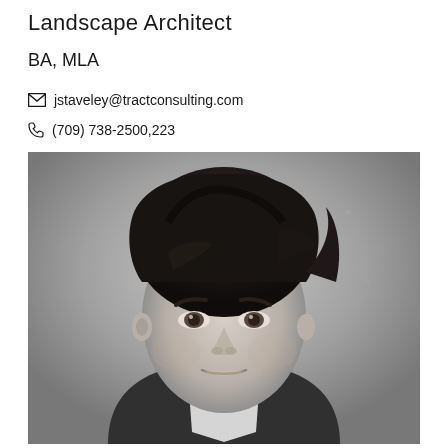Landscape Architect
BA, MLA
jstaveley@tractconsulting.com
(709) 738-2500,223
[Figure (photo): Black and white professional headshot of a woman with short dark hair, smiling slightly, facing the camera]